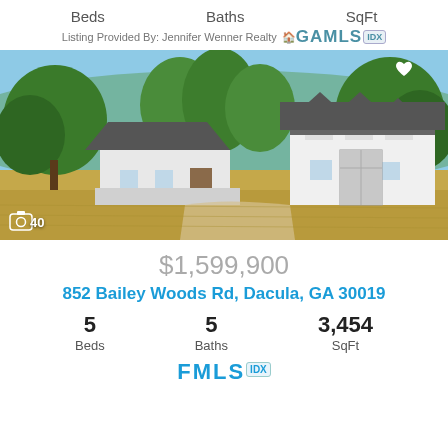Beds    Baths    SqFt
Listing Provided By: Jennifer Wenner Realty  GAMLS IDX
[Figure (photo): Exterior photo of a large property with two white buildings, tall trees, and a wide lawn. Camera icon with '40' in lower left. Heart icon in upper right.]
$1,599,900
852 Bailey Woods Rd, Dacula, GA 30019
5 Beds  5 Baths  3,454 SqFt
[Figure (logo): FMLS IDX logo in blue]